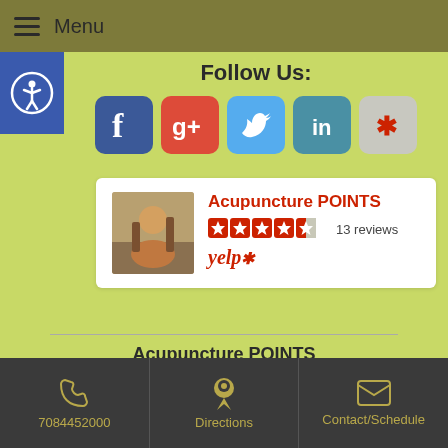≡ Menu
Follow Us:
[Figure (logo): Social media icons row: Facebook, Google+, Twitter, LinkedIn, Yelp]
[Figure (infographic): Yelp review card for Acupuncture POINTS showing 4.5 stars and 13 reviews]
Acupuncture POINTS
Proud Member of
[Figure (logo): Red arc/fan logo partially visible]
7084452000 | Directions | Contact/Schedule